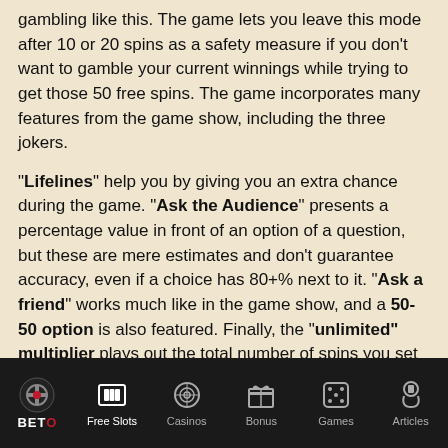gambling like this. The game lets you leave this mode after 10 or 20 spins as a safety measure if you don't want to gamble your current winnings while trying to get those 50 free spins. The game incorporates many features from the game show, including the three jokers.
"Lifelines" help you by giving you an extra chance during the game. "Ask the Audience" presents a percentage value in front of an option of a question, but these are mere estimates and don't guarantee accuracy, even if a choice has 80+% next to it. "Ask a friend" works much like in the game show, and a 50-50 option is also featured. Finally, the "unlimited" multiplier plays out the total number of spins you set and keeps on increasing with no maximum limit. The initial value is 1x, and for every cascading win, it
BETO | Free Slots | Casinos | Bonus | Games | Articles